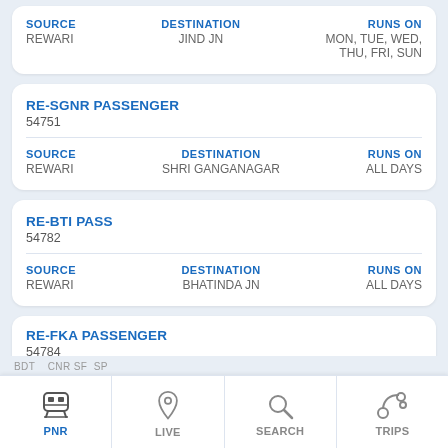| SOURCE | DESTINATION | RUNS ON |
| --- | --- | --- |
| REWARI | JIND JN | MON, TUE, WED, THU, FRI, SUN |
RE-SGNR PASSENGER
54751
| SOURCE | DESTINATION | RUNS ON |
| --- | --- | --- |
| REWARI | SHRI GANGANAGAR | ALL DAYS |
RE-BTI PASS
54782
| SOURCE | DESTINATION | RUNS ON |
| --- | --- | --- |
| REWARI | BHATINDA JN | ALL DAYS |
RE-FKA PASSENGER
54784
| SOURCE | DESTINATION | RUNS ON |
| --- | --- | --- |
| REWARI | FALKHA (partial) | ALL DAYS (partial) |
PNR | LIVE | SEARCH | TRIPS